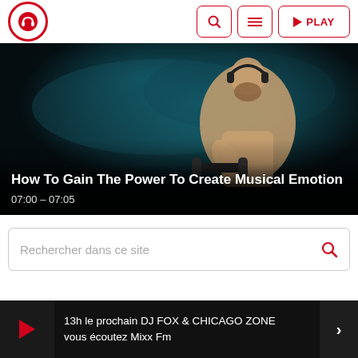[Figure (logo): Red circle with headphone icon logo]
Search | Menu | PLAY
[Figure (photo): Muscular bearded man with headphones lifting a dumbbell against a dark smoky blue background]
How To Gain The Power To Create Musical Emotion
07:00 – 07:05
Rechercher dans ce site
13h le prochain DJ FOX & CHICAGO ZONE vous écoutez Mixx Fm